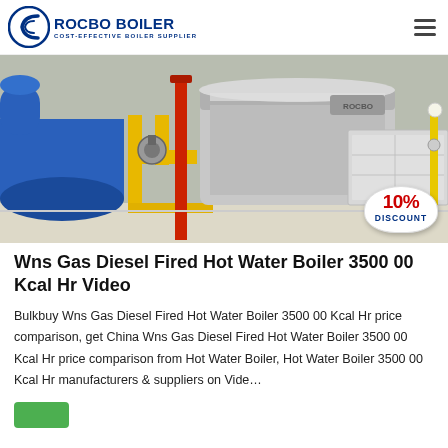ROCBO BOILER - COST-EFFECTIVE BOILER SUPPLIER
[Figure (photo): Industrial hot water boiler in a facility showing blue cylindrical tank, yellow piping, red vertical pipe, and a large stainless steel rectangular unit with a 10% DISCOUNT badge in the lower right corner.]
Wns Gas Diesel Fired Hot Water Boiler 3500 00 Kcal Hr Video
Bulkbuy Wns Gas Diesel Fired Hot Water Boiler 3500 00 Kcal Hr price comparison, get China Wns Gas Diesel Fired Hot Water Boiler 3500 00 Kcal Hr price comparison from Hot Water Boiler, Hot Water Boiler 3500 00 Kcal Hr manufacturers & suppliers on Vide…